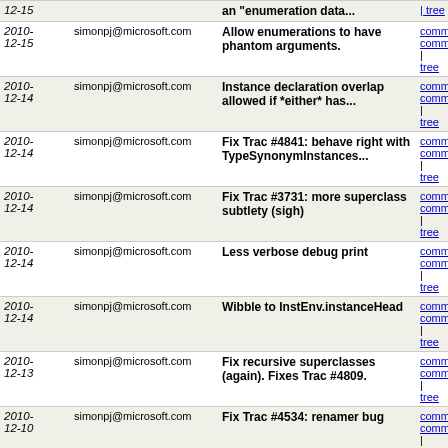| Date | Author | Message | Links |
| --- | --- | --- | --- |
| 2010-12-15 | simonpj@microsoft.com | an "enumeration data... | commit | commitc | tree |
| 2010-12-15 | simonpj@microsoft.com | Allow enumerations to have phantom arguments. | commit | commitc | tree |
| 2010-12-14 | simonpj@microsoft.com | Instance declaration overlap allowed if *either* has... | commit | commitc | tree |
| 2010-12-14 | simonpj@microsoft.com | Fix Trac #4841: behave right with TypeSynonymInstances... | commit | commitc | tree |
| 2010-12-14 | simonpj@microsoft.com | Fix Trac #3731: more superclass subtlety (sigh) | commit | commitc | tree |
| 2010-12-14 | simonpj@microsoft.com | Less verbose debug print | commit | commitc | tree |
| 2010-12-14 | simonpj@microsoft.com | Wibble to InstEnv.instanceHead | commit | commitc | tree |
| 2010-12-13 | simonpj@microsoft.com | Fix recursive superclasses (again). Fixes Trac #4809. | commit | commitc | tree |
| 2010-12-10 | simonpj@microsoft.com | Fix Trac #4534: renamer bug | commit | commitc | tree |
| 2010-12-10 | simonpj@microsoft.com | White space only | commit | commitc | tree |
| 2010-12-10 | simonpj@microsoft.com | Comments only | commit | commitc | tree |
| 2010-12-08 | simonpj@microsoft.com | Make the case-to-let transformation a little less eager | commit | commitc | tree |
| 2010-12-03 | simonpj@microsoft.com | Fix up TcInstDcls
Thu Dec 2 12:35:47 GMT 2010
simonpj@microsoft.com | commit | commitc | tree |